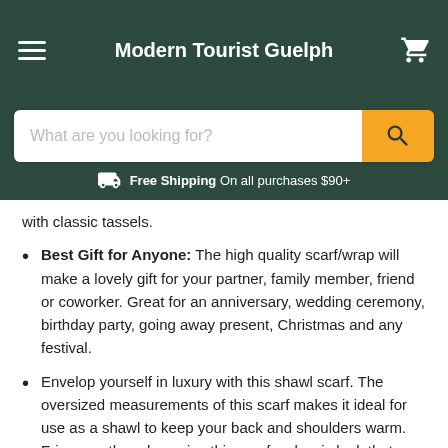Modern Tourist Guelph
What are you looking for?
Free Shipping On all purchases $90+
with classic tassels.
Best Gift for Anyone: The high quality scarf/wrap will make a lovely gift for your partner, family member, friend or coworker. Great for an anniversary, wedding ceremony, birthday party, going away present, Christmas and any festival.
Envelop yourself in luxury with this shawl scarf. The oversized measurements of this scarf makes it ideal for use as a shawl to keep your back and shoulders warm. Fringe on the edges give this scarf a classic look that pairs easily with both business and nighttime attire.